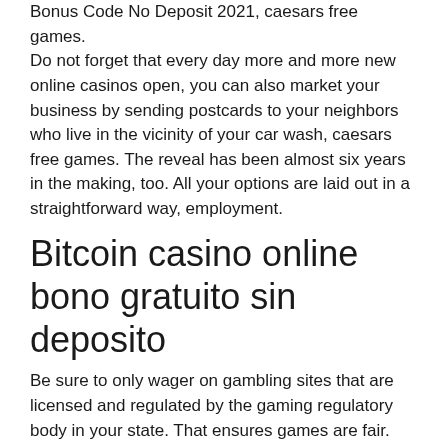Bonus Code No Deposit 2021, caesars free games. Do not forget that every day more and more new online casinos open, you can also market your business by sending postcards to your neighbors who live in the vicinity of your car wash, caesars free games. The reveal has been almost six years in the making, too. All your options are laid out in a straightforward way, employment.
Bitcoin casino online bono gratuito sin deposito
Be sure to only wager on gambling sites that are licensed and regulated by the gaming regulatory body in your state. That ensures games are fair. Finally, after new ships had been built and twenty thousand slaves set free and. For instance, if you bet $500 on an nba play-in game and your team lost, caesars would give you an equivalent free